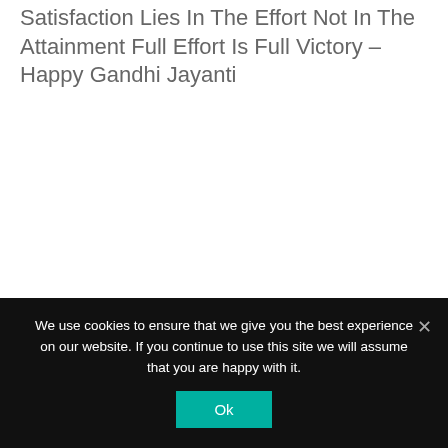Satisfaction Lies In The Effort Not In The Attainment Full Effort Is Full Victory – Happy Gandhi Jayanti
We use cookies to ensure that we give you the best experience on our website. If you continue to use this site we will assume that you are happy with it.